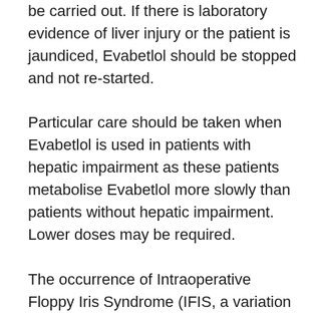be carried out. If there is laboratory evidence of liver injury or the patient is jaundiced, Evabetlol should be stopped and not re-started. Particular care should be taken when Evabetlol is used in patients with hepatic impairment as these patients metabolise Evabetlol more slowly than patients without hepatic impairment. Lower doses may be required. The occurrence of Intraoperative Floppy Iris Syndrome (IFIS, a variation of Small Pupil Syndrome) has been observed during cataract surgery in some patients on, or previously treated with, tamsulosin. Isolated reports have also been received with other alpha-1 blockers and the possibility of a class effect cannot be excluded. As IFIS may lead to increased procedural